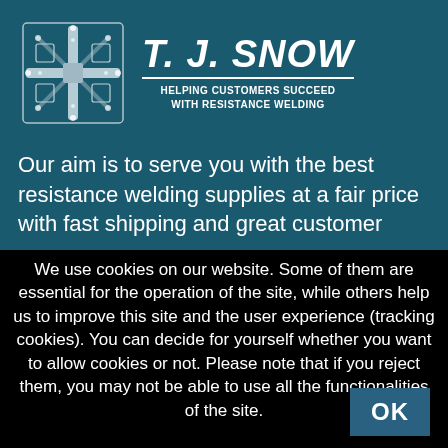[Figure (logo): T. J. Snow company logo with snowflake/cross decorative emblem and tagline 'HELPING CUSTOMERS SUCCEED WITH RESISTANCE WELDING']
Our aim is to serve you with the best resistance welding supplies at a fair price with fast shipping and great customer
We use cookies on our website. Some of them are essential for the operation of the site, while others help us to improve this site and the user experience (tracking cookies). You can decide for yourself whether you want to allow cookies or not. Please note that if you reject them, you may not be able to use all the functionalities of the site.
OK